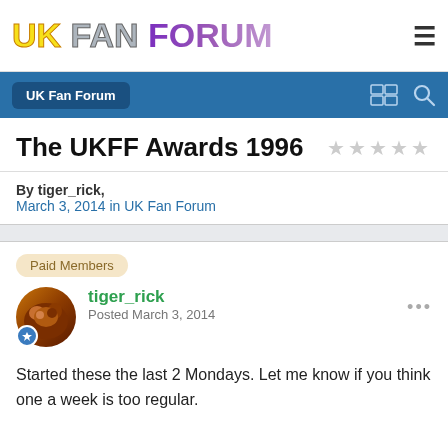UK FAN FORUM
The UKFF Awards 1996
By tiger_rick,
March 3, 2014 in UK Fan Forum
Paid Members
tiger_rick
Posted March 3, 2014
Started these the last 2 Mondays. Let me know if you think one a week is too regular.